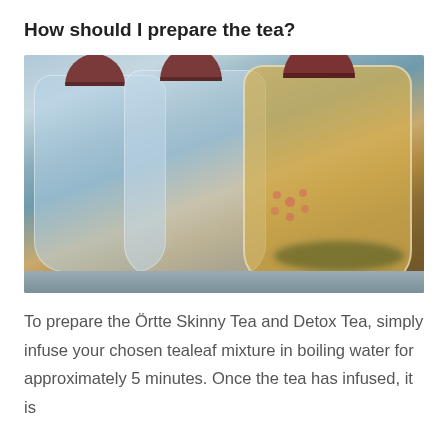How should I prepare the tea?
[Figure (photo): Three glass tea pots with reddish-brown handles filled with tea, sitting on a shelf. The front pot shows golden tea with a floral design and loose leaf tea at the bottom.]
To prepare the Örtte Skinny Tea and Detox Tea, simply infuse your chosen tealeaf mixture in boiling water for approximately 5 minutes. Once the tea has infused, it is